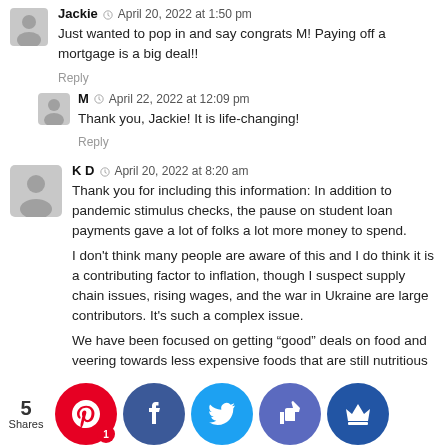Jackie · April 20, 2022 at 1:50 pm
Just wanted to pop in and say congrats M! Paying off a mortgage is a big deal!!
Reply
M · April 22, 2022 at 12:09 pm
Thank you, Jackie! It is life-changing!
Reply
K D · April 20, 2022 at 8:20 am
Thank you for including this information: In addition to pandemic stimulus checks, the pause on student loan payments gave a lot of folks a lot more money to spend.

I don't think many people are aware of this and I do think it is a contributing factor to inflation, though I suspect supply chain issues, rising wages, and the war in Ukraine are large contributors. It's such a complex issue.

We have been focused on getting “good” deals on food and veering towards less expensive foods that are still nutritious
5 Shares